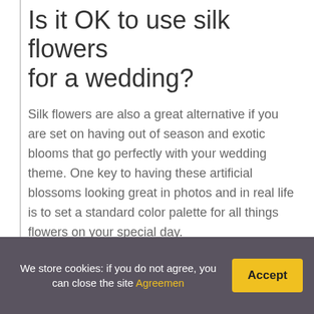Is it OK to use silk flowers for a wedding?
Silk flowers are also a great alternative if you are set on having out of season and exotic blooms that go perfectly with your wedding theme. One key to having these artificial blossoms looking great in photos and in real life is to set a standard color palette for all things flowers on your special day.
What is a bouquet holder?
noun A contrivance for holding together the stems of cut flowers, whether held in the hand or secured to the
We store cookies: if you do not agree, you can close the site Agreemen
Accept